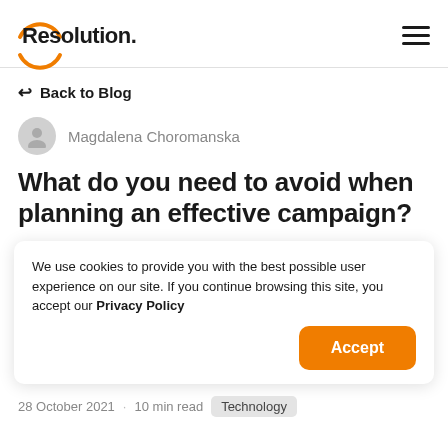Resolution.
Back to Blog
Magdalena Choromanska
What do you need to avoid when planning an effective campaign?
We use cookies to provide you with the best possible user experience on our site. If you continue browsing this site, you accept our Privacy Policy
Accept
28 October 2021 · 10 min read  Technology